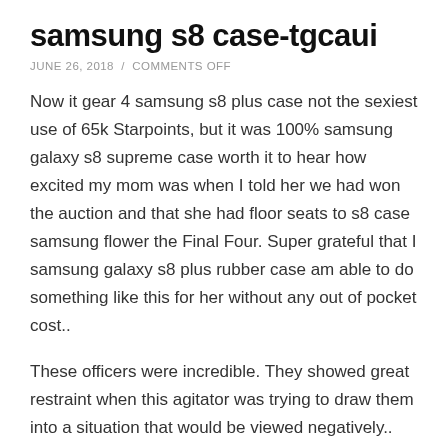samsung s8 case-tgcaui
JUNE 26, 2018  /  COMMENTS OFF
Now it gear 4 samsung s8 plus case not the sexiest use of 65k Starpoints, but it was 100% samsung galaxy s8 supreme case worth it to hear how excited my mom was when I told her we had won the auction and that she had floor seats to s8 case samsung flower the Final Four. Super grateful that I samsung galaxy s8 plus rubber case am able to do something like this for her without any out of pocket cost..
These officers were incredible. They showed great restraint when this agitator was trying to draw them into a situation that would be viewed negatively.. samsung s8 case ring holder The control prime was to write down ten books the participant read in high school